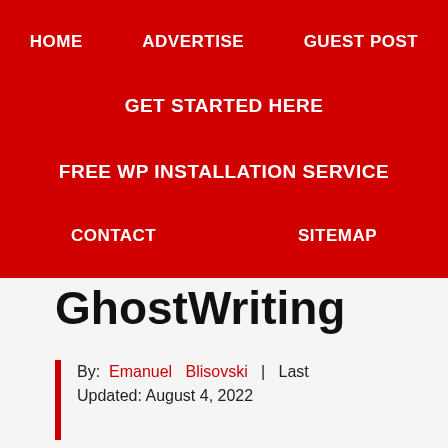HOME   ADVERTISE   GUEST POST
GET STARTED HERE
FREE WP INSTALLATION SERVICE
CONTACT   SITEMAP
GhostWriting
By: Emanuel Blisovski | Last Updated: August 4, 2022